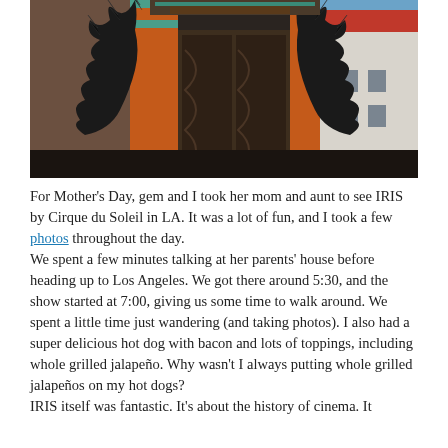[Figure (photo): Upward-angled photograph of the TCL Chinese Theatre (Grauman's Chinese Theatre) in Hollywood, LA, showing ornate dragon statues, carved wooden doors, red and orange architectural details, and a blue sky with a red-roofed building visible on the right.]
For Mother's Day, gem and I took her mom and aunt to see IRIS by Cirque du Soleil in LA. It was a lot of fun, and I took a few photos throughout the day.
We spent a few minutes talking at her parents' house before heading up to Los Angeles. We got there around 5:30, and the show started at 7:00, giving us some time to walk around. We spent a little time just wandering (and taking photos). I also had a super delicious hot dog with bacon and lots of toppings, including whole grilled jalapeño. Why wasn't I always putting whole grilled jalapeños on my hot dogs?
IRIS itself was fantastic. It's about the history of cinema. It